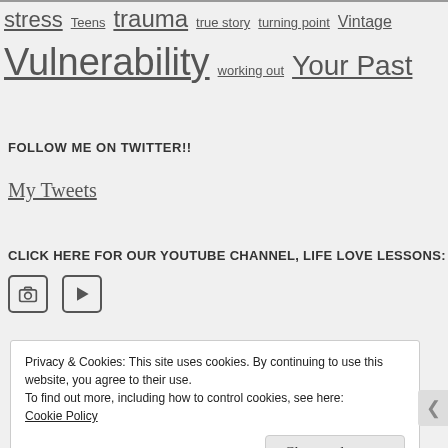stress Teens trauma true story turning point Vintage Vulnerability working out Your Past
FOLLOW ME ON TWITTER!!
My Tweets
CLICK HERE FOR OUR YOUTUBE CHANNEL, LIFE LOVE LESSONS:
[Figure (illustration): Instagram camera icon and YouTube play button icon]
Privacy & Cookies: This site uses cookies. By continuing to use this website, you agree to their use. To find out more, including how to control cookies, see here: Cookie Policy
Close and accept